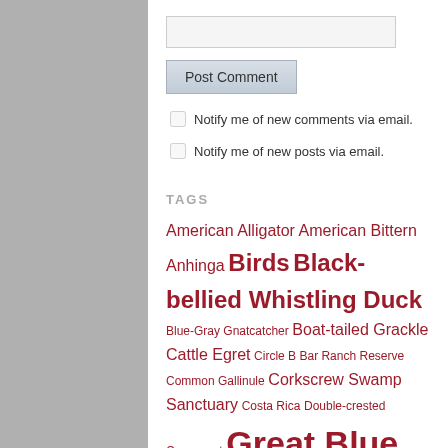[text input field]
Post Comment
Notify me of new comments via email.
Notify me of new posts via email.
TAGS
American Alligator American Bittern Anhinga Birds Black-bellied Whistling Duck Blue-Gray Gnatcatcher Boat-tailed Grackle Cattle Egret Circle B Bar Ranch Reserve Common Gallinule Corkscrew Swamp Sanctuary Costa Rica Double-crested Cormorant Great Blue Heron Great Egret Green Heron Israel